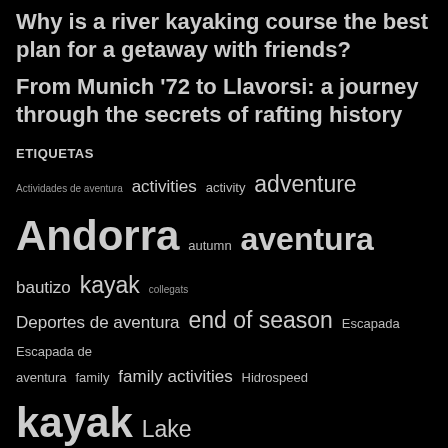Why is a river kayaking course the best plan for a getaway with friends?
From Munich '72 to Llavorsi: a journey through the secrets of rafting history
ETIQUETAS
Actividades de aventura activities activity adventure Andorra autumn aventura bautizo kayak collegats Deportes de aventura end of season Escapada Escapada de aventura family family activities Hidrospeed kayak Lake llavorsi mushing nieve noguera pallaresa Ofertas actividades de aventura Ofertas de aventura Ofertas nieve Ofertas packs aventura open kayak Paddle surf piragüismo pyrenees rafting Rafting llavorsi raquetas de nieve river rocroi rocroi rocroi adventure center